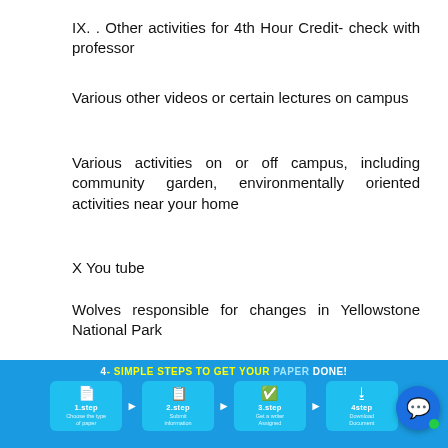IX. . Other activities for 4th Hour Credit- check with professor
Various other videos or certain lectures on campus
Various activities on or off campus, including community garden, environmentally oriented activities near your home
X You tube
Wolves responsible for changes in Yellowstone National Park
How wolves change rivers
[Figure (infographic): 4 Simple Steps to Get Your Paper Done infographic with blue background showing 4 steps: 1.step Choose the type of paper, 2.step Submit information, 3.step Get a writer Assigned, 4.step Download Document. A chat bubble icon is in the bottom right corner with a green dot.]